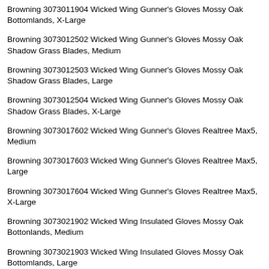Browning 3073011904 Wicked Wing Gunner's Gloves Mossy Oak Bottomlands, X-Large
Browning 3073012502 Wicked Wing Gunner's Gloves Mossy Oak Shadow Grass Blades, Medium
Browning 3073012503 Wicked Wing Gunner's Gloves Mossy Oak Shadow Grass Blades, Large
Browning 3073012504 Wicked Wing Gunner's Gloves Mossy Oak Shadow Grass Blades, X-Large
Browning 3073017602 Wicked Wing Gunner's Gloves Realtree Max5, Medium
Browning 3073017603 Wicked Wing Gunner's Gloves Realtree Max5, Large
Browning 3073017604 Wicked Wing Gunner's Gloves Realtree Max5, X-Large
Browning 3073021902 Wicked Wing Insulated Gloves Mossy Oak Bottonlands, Medium
Browning 3073021903 Wicked Wing Insulated Gloves Mossy Oak Bottomlands, Large
Browning 3073021904 Wicked Wing Insulated Gloves Mossy Oak